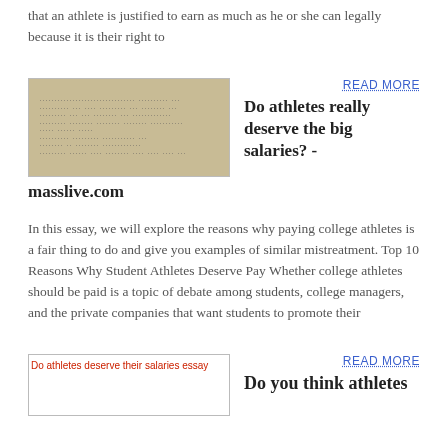that an athlete is justified to earn as much as he or she can legally because it is their right to
[Figure (photo): A handwritten document or notebook page, scanned, with faded handwriting lines]
READ MORE
Do athletes really deserve the big salaries? - masslive.com
In this essay, we will explore the reasons why paying college athletes is a fair thing to do and give you examples of similar mistreatment. Top 10 Reasons Why Student Athletes Deserve Pay Whether college athletes should be paid is a topic of debate among students, college managers, and the private companies that want students to promote their
[Figure (photo): Broken image: Do athletes deserve their salaries essay]
READ MORE
Do you think athletes